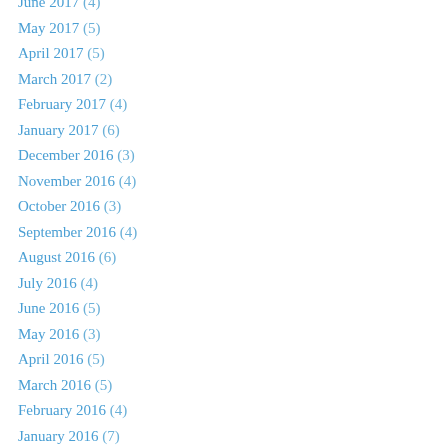June 2017 (4)
May 2017 (5)
April 2017 (5)
March 2017 (2)
February 2017 (4)
January 2017 (6)
December 2016 (3)
November 2016 (4)
October 2016 (3)
September 2016 (4)
August 2016 (6)
July 2016 (4)
June 2016 (5)
May 2016 (3)
April 2016 (5)
March 2016 (5)
February 2016 (4)
January 2016 (7)
December 2015 (4)